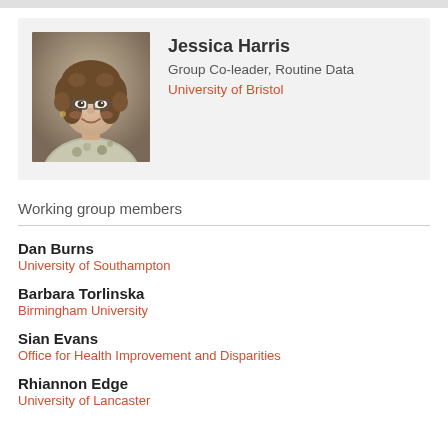[Figure (photo): Headshot of Jessica Harris, a woman with curly brown hair wearing glasses and a floral blouse, smiling]
Jessica Harris
Group Co-leader, Routine Data
University of Bristol
Working group members
Dan Burns
University of Southampton
Barbara Torlinska
Birmingham University
Sian Evans
Office for Health Improvement and Disparities
Rhiannon Edge
University of Lancaster